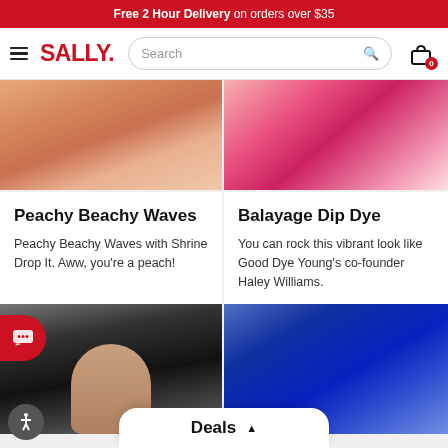Free 2 Hour Delivery on orders over $35
SALLY. Search [cart 0]
[Figure (photo): Peachy orange wavy hair close-up]
[Figure (photo): Pink and red balayage dip dye hair close-up]
Peachy Beachy Waves
Peachy Beachy Waves with Shrine Drop It. Aww, you're a peach!
Balayage Dip Dye
You can rock this vibrant look like Good Dye Young's co-founder Haley Williams.
[Figure (photo): Woman with dark black straight hair with bangs, smiling]
[Figure (photo): Woman with blue wavy hair and teal eye makeup]